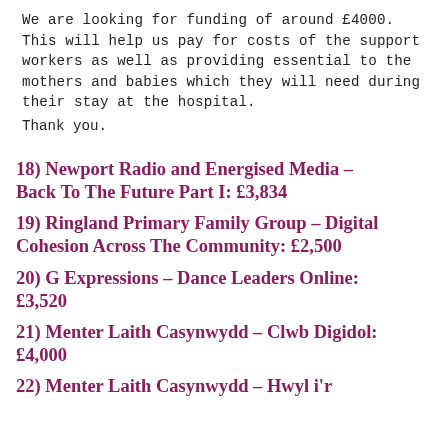We are looking for funding of around £4000. This will help us pay for costs of the support workers as well as providing essential to the mothers and babies which they will need during their stay at the hospital.
Thank you.
18) Newport Radio and Energised Media – Back To The Future Part I: £3,834
19) Ringland Primary Family Group – Digital Cohesion Across The Community: £2,500
20) G Expressions – Dance Leaders Online: £3,520
21) Menter Laith Casynwydd – Clwb Digidol: £4,000
22) Menter Laith Casynwydd – Hwyl i'r